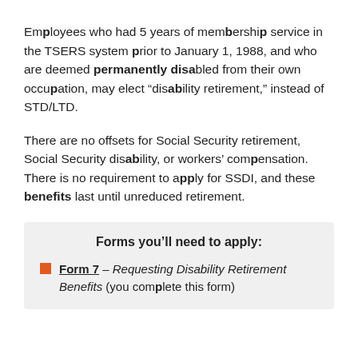Employees who had 5 years of membership service in the TSERS system prior to January 1, 1988, and who are deemed permanently disabled from their own occupation, may elect “disability retirement,” instead of STD/LTD.
There are no offsets for Social Security retirement, Social Security disability, or workers’ compensation. There is no requirement to apply for SSDI, and these benefits last until unreduced retirement.
Forms you’ll need to apply:
Form 7 – Requesting Disability Retirement Benefits (you complete this form)